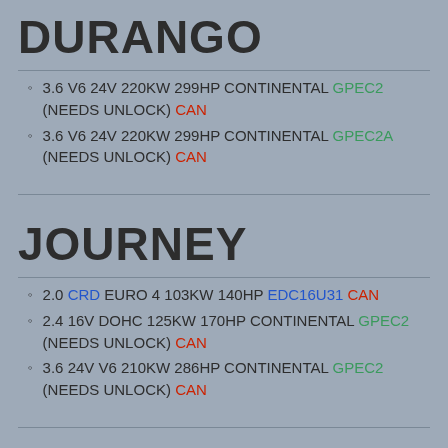DURANGO
3.6 V6 24V 220KW 299HP CONTINENTAL GPEC2 (NEEDS UNLOCK) CAN
3.6 V6 24V 220KW 299HP CONTINENTAL GPEC2A (NEEDS UNLOCK) CAN
JOURNEY
2.0 CRD EURO 4 103KW 140HP EDC16U31 CAN
2.4 16V DOHC 125KW 170HP CONTINENTAL GPEC2 (NEEDS UNLOCK) CAN
3.6 24V V6 210KW 286HP CONTINENTAL GPEC2 (NEEDS UNLOCK) CAN
NITRO